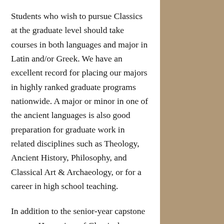Students who wish to pursue Classics at the graduate level should take courses in both languages and major in Latin and/or Greek. We have an excellent record for placing our majors in highly ranked graduate programs nationwide. A major or minor in one of the ancient languages is also good preparation for graduate work in related disciplines such as Theology, Ancient History, Philosophy, and Classical Art & Archaeology, or for a career in high school teaching.
In addition to the senior-year capstone course, Humanism of Classical Antiquity, all majors (Classical Civilization, Latin, or ancient Greek) must complete a portfolio that highlights their best work and reflects upon their growth in the program. Contact Dr. Mannering, Undergraduate Programs Director, for more